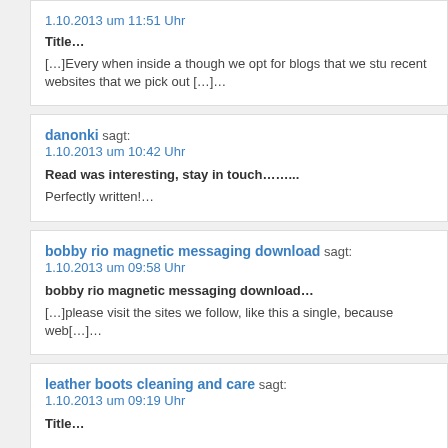1.10.2013 um 11:51 Uhr
Title…
[…]Every when inside a though we opt for blogs that we stu recent websites that we pick out […]…
danonki sagt: 1.10.2013 um 10:42 Uhr
Read was interesting, stay in touch……..
Perfectly written!…
bobby rio magnetic messaging download sagt: 1.10.2013 um 09:58 Uhr
bobby rio magnetic messaging download…
[…]please visit the sites we follow, like this a single, because web[…]…
leather boots cleaning and care sagt: 1.10.2013 um 09:19 Uhr
Title…